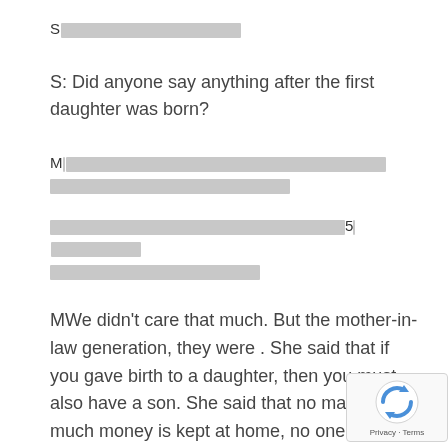S[REDACTED]
S: Did anyone say anything after the first daughter was born?
M[REDACTED LONG TEXT]
[REDACTED LONG TEXT] 5 [REDACTED]
M: We didn't care that much. But the mother-in-law generation, they were . She said that if you gave birth to a daughter, then you must also have a son. She said that no matter how much money is kept at home, no one can see it. She said that if one doesn't have a s[on] it must because you didn't do well in your life. How could there be no son? Anyway, older people think this